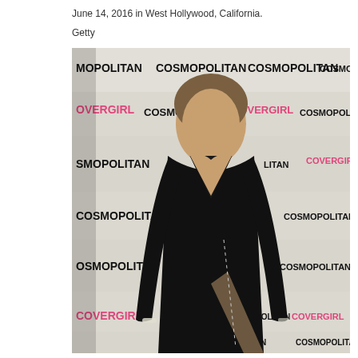June 14, 2016 in West Hollywood, California.
Getty
[Figure (photo): A woman in a black long-sleeve deep-V gown with a high slit poses in front of a Cosmopolitan and CoverGirl step-and-repeat backdrop.]